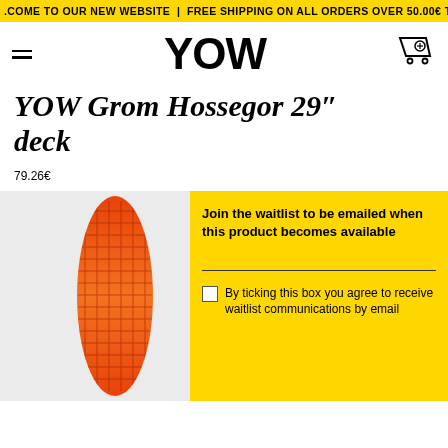WELCOME TO OUR NEW WEBSITE | FREE SHIPPING ON ALL ORDERS OVER 50.00€ TO THE
[Figure (logo): YOW brand logo in bold black text with hamburger menu icon on left and shopping cart icon on right]
YOW Grom Hossegor 29" deck
79.26€
[Figure (photo): YOW skateboard deck with orange-red gradient and honeycomb pattern design]
Join the waitlist to be emailed when this product becomes available
By ticking this box you agree to receive waitlist communications by email